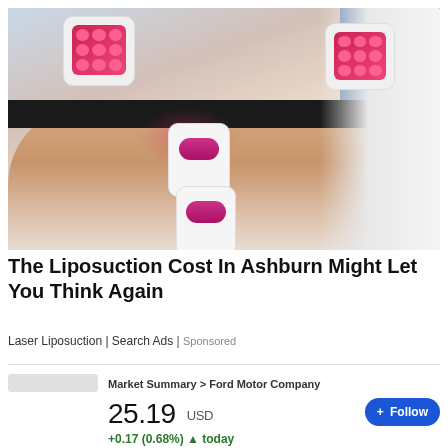[Figure (photo): Photo of a person lying on a medical bed receiving a laser liposuction treatment. A practitioner holds two white handheld devices with red LED panels over the person's abdomen. Additional devices are strapped to the body with a black strap. A white towel is visible on the right.]
The Liposuction Cost In Ashburn Might Let You Think Again
Laser Liposuction | Search Ads | Sponsored
Market Summary > Ford Motor Company
25.19 USD
+0.17 (0.68%) ▲ today